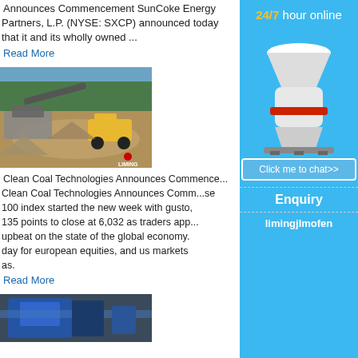Announces Commencement SunCoke Energy Partners, L.P. (NYSE: SXCP) announced today that it and its wholly owned ...
Read More
[Figure (photo): Mining/quarry site with heavy machinery and conveyor equipment, with a Liming logo in the bottom right corner.]
Clean Coal Technologies Announces Commence... Clean Coal Technologies Announces Comm...se 100 index started the new week with gusto, 135 points to close at 6,032 as traders app... upbeat on the state of the global economy. day for european equities, and us markets as.
Read More
[Figure (photo): Industrial blue mining/processing machine equipment.]
[Figure (advertisement): Sidebar advertisement for Liming brand: '24/7 hour online', image of industrial cone crusher machine, 'Click me to chat>>' button, 'Enquiry' section, 'limingjlmofen' text.]